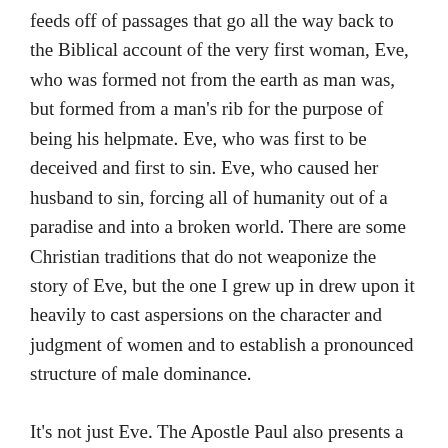feeds off of passages that go all the way back to the Biblical account of the very first woman, Eve, who was formed not from the earth as man was, but formed from a man's rib for the purpose of being his helpmate. Eve, who was first to be deceived and first to sin. Eve, who caused her husband to sin, forcing all of humanity out of a paradise and into a broken world. There are some Christian traditions that do not weaponize the story of Eve, but the one I grew up in drew upon it heavily to cast aspersions on the character and judgment of women and to establish a pronounced structure of male dominance.
It's not just Eve. The Apostle Paul also presents a problem. Author of approximately half of the books of the New Testament, Paul used a good deal of